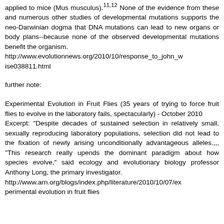applied to mice (Mus musculus).11,12 None of the evidence from these and numerous other studies of developmental mutations supports the neo-Darwinian dogma that DNA mutations can lead to new organs or body plans--because none of the observed developmental mutations benefit the organism. http://www.evolutionnews.org/2010/10/response_to_john_wise038811.html
further note:
Experimental Evolution in Fruit Flies (35 years of trying to force fruit flies to evolve in the laboratory fails, spectacularly) - October 2010 Excerpt: "Despite decades of sustained selection in relatively small, sexually reproducing laboratory populations, selection did not lead to the fixation of newly arising unconditionally advantageous alleles.,,, "This research really upends the dominant paradigm about how species evolve," said ecology and evolutionary biology professor Anthony Long, the primary investigator. http://www.arn.org/blogs/index.php/literature/2010/10/07/experimental_evolution_in_fruit_flies